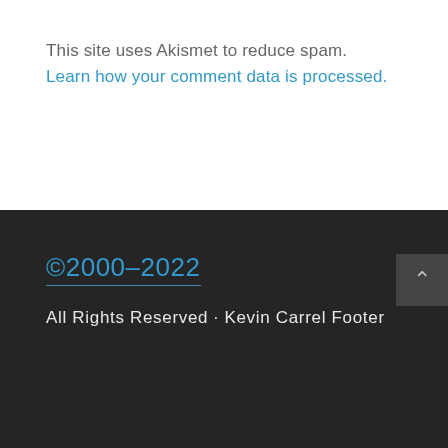This site uses Akismet to reduce spam. Learn how your comment data is processed.
©2000–2022 All Rights Reserved · Kevin Carrel Footer